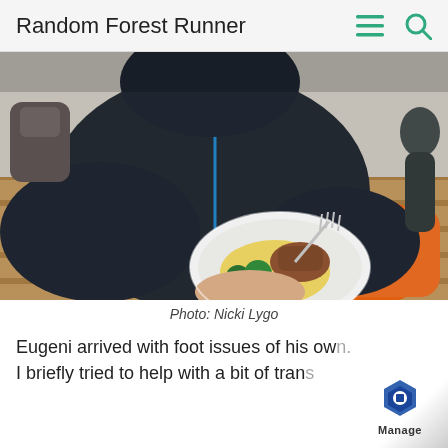Random Forest Runner
[Figure (photo): Person seated indoors wearing a dark blue and orange jacket, holding a white plate of food with broccoli and other items, using a fork. An orange bag is visible in the background on a wooden floor.]
Photo: Nicki Lygo
Eugeni arrived with foot issues of his own. I briefly tried to help with a bit of trans